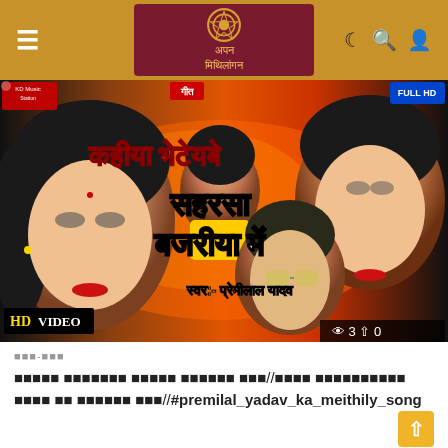≡  अपन मिथिलांगन  ☾ 🔍 👤
[Figure (screenshot): YouTube-style HD video thumbnail showing Maithili song 'Kahiya Bhetaybe Saharsa Bajriya Mein' by Premilal Yadav. Shows Hindi/Devanagari text on colorful background with faces of performers. HD VIDEO badge, view count 3, share count 0.]
□□□-□□□
□□□□□ □□□□□□□ □□□□□ □□□□□□ □□□//□□□□ □□□□□□□□□□ □□□□ □□ □□□□□□ □□□//#premilal_yadav_ka_meithily_song